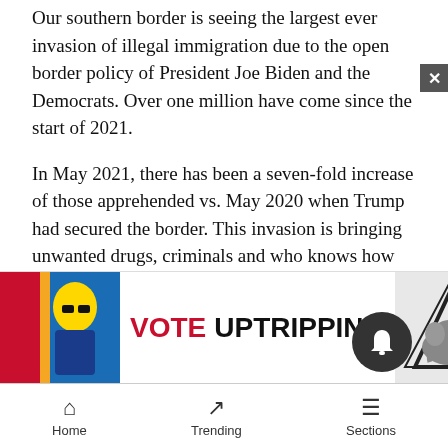Our southern border is seeing the largest ever invasion of illegal immigration due to the open border policy of President Joe Biden and the Democrats. Over one million have come since the start of 2021.
In May 2021, there has been a seven-fold increase of those apprehended vs. May 2020 when Trump had secured the border. This invasion is bringing unwanted drugs, criminals and who knows how many terrorists, as the influx is from more than 100 different countries.
In addition to the usual problems this creates, it is going on during a pandemic and is a super spreader event for COVID. The illegal border crossings bring in people who are unmasked, untested and unvac... ally are no... iddle
[Figure (other): Advertisement banner: VOTE UPTRIPPING with colorful graphic on left and mountain/elephant logo on right]
Home   Trending   Sections